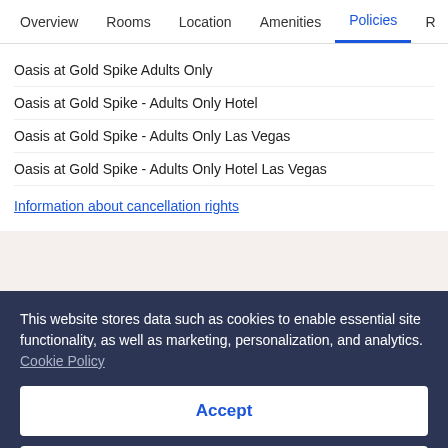Overview | Rooms | Location | Amenities | Policies | R
Oasis at Gold Spike Adults Only
Oasis at Gold Spike - Adults Only Hotel
Oasis at Gold Spike - Adults Only Las Vegas
Oasis at Gold Spike - Adults Only Hotel Las Vegas
Information about cancellation rights
This website stores data such as cookies to enable essential site functionality, as well as marketing, personalization, and analytics. Cookie Policy
Accept
Deny